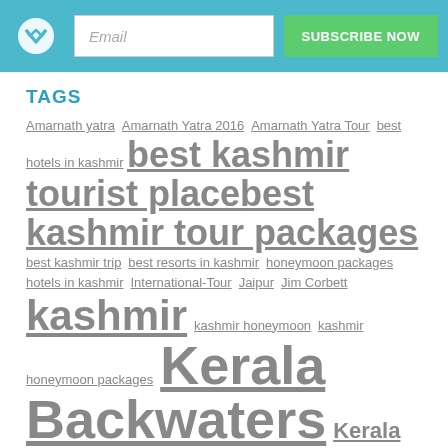Email | SUBSCRIBE NOW
TAGS
Amarnath yatra Amarnath Yatra 2016 Amarnath Yatra Tour best hotels in kashmir best kashmir tourist place best kashmir tour packages best kashmir trip best resorts in kashmir honeymoon packages hotels in kashmir International-Tour Jaipur Jim Corbett kashmir kashmir honeymoon kashmir honeymoon packages Kerala Backwaters Kerala Honeymoon Kerala Tour Nainital Ranthambore Rishikesh romantic kashmir safe and secure kashmir tour packages tourist destination in kashmir
CATEGORIES